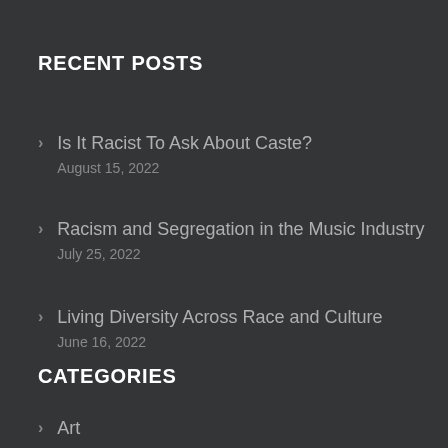RECENT POSTS
Is It Racist To Ask About Caste?
August 15, 2022
Racism and Segregation in the Music Industry
July 25, 2022
Living Diversity Across Race and Culture
June 16, 2022
CATEGORIES
Art